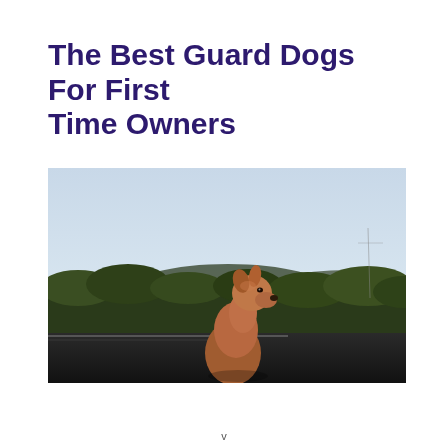The Best Guard Dogs For First Time Owners
[Figure (photo): A tan/brown dog looking out from a car window against a backdrop of green shrubs and a pale blue sky. The dog is facing left in profile, alert expression, with its head and upper body visible above the car door. The scene is outdoors, slightly hazy.]
v